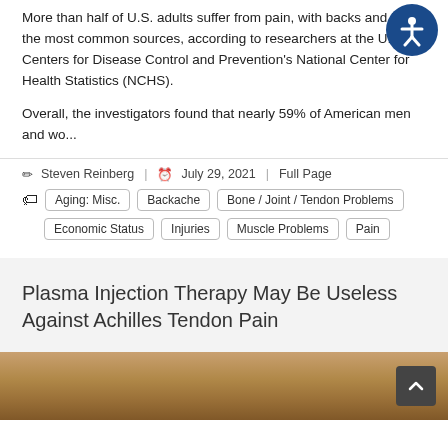More than half of U.S. adults suffer from pain, with backs and legs the most common sources, according to researchers at the U.S. Centers for Disease Control and Prevention's National Center for Health Statistics (NCHS).
Overall, the investigators found that nearly 59% of American men and wo...
✏ Steven Reinberg | 🕐 July 29, 2021 | Full Page
Aging: Misc.
Backache
Bone / Joint / Tendon Problems
Economic Status
Injuries
Muscle Problems
Pain
Plasma Injection Therapy May Be Useless Against Achilles Tendon Pain
[Figure (photo): Photo strip showing human legs/ankles, brownish skin tones]